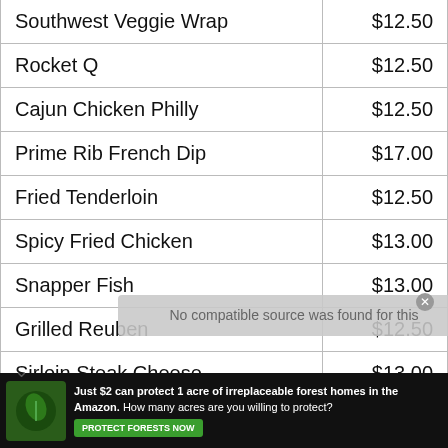| Item | Price |
| --- | --- |
| Southwest Veggie Wrap | $12.50 |
| Rocket Q | $12.50 |
| Cajun Chicken Philly | $12.50 |
| Prime Rib French Dip | $17.00 |
| Fried Tenderloin | $12.50 |
| Spicy Fried Chicken | $13.00 |
| Snapper Fish | $13.00 |
| Grilled Reuben | $12.50 |
| Sirloin Steak Cheese | $13.00 |
| Bacon Cheese Chicken Grille | $12.50 |
No compatible source was found for this
[Figure (photo): Advertisement banner: Just $2 can protect 1 acre of irreplaceable forest homes in the Amazon. How many acres are you willing to protect? PROTECT FORESTS NOW]